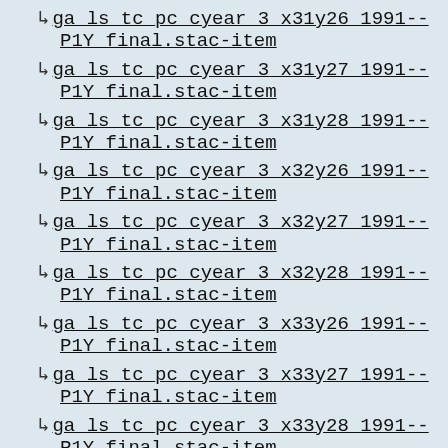↳ ga_ls_tc_pc_cyear_3_x31y26_1991--P1Y_final.stac-item
↳ ga_ls_tc_pc_cyear_3_x31y27_1991--P1Y_final.stac-item
↳ ga_ls_tc_pc_cyear_3_x31y28_1991--P1Y_final.stac-item
↳ ga_ls_tc_pc_cyear_3_x32y26_1991--P1Y_final.stac-item
↳ ga_ls_tc_pc_cyear_3_x32y27_1991--P1Y_final.stac-item
↳ ga_ls_tc_pc_cyear_3_x32y28_1991--P1Y_final.stac-item
↳ ga_ls_tc_pc_cyear_3_x33y26_1991--P1Y_final.stac-item
↳ ga_ls_tc_pc_cyear_3_x33y27_1991--P1Y_final.stac-item
↳ ga_ls_tc_pc_cyear_3_x33y28_1991--P1Y_final.stac-item
↳ ga_ls_wo_3_100078_1991-04-13_final